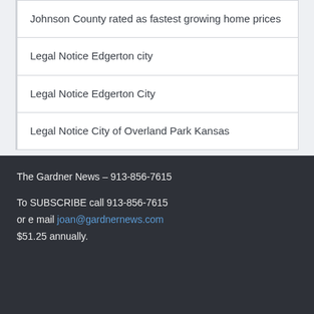Johnson County rated as fastest growing home prices
Legal Notice Edgerton city
Legal Notice Edgerton City
Legal Notice City of Overland Park Kansas
The Gardner News – 913-856-7615
To SUBSCRIBE call 913-856-7615
or e mail joan@gardnernews.com
$51.25 annually.